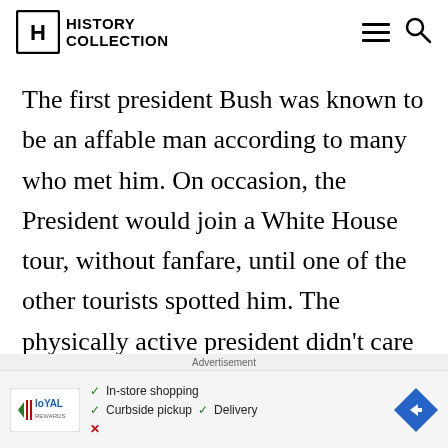History Collection
The first president Bush was known to be an affable man according to many who met him. On occasion, the President would join a White House tour, without fanfare, until one of the other tourists spotted him. The physically active president didn't care for being stuck in the White House and journeyed to Camp David as frequently as possible during his single term presidency. Few
Advertisement
[Figure (other): Advertisement banner with Loyal logo, checkmarks for In-store shopping, Curbside pickup, Delivery, and a blue diamond arrow icon]